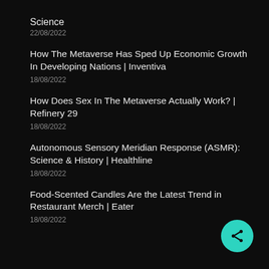Science
22/08/2022
How The Metaverse Has Sped Up Economic Growth In Developing Nations | Inventiva
18/08/2022
How Does Sex In The Metaverse Actually Work? | Refinery 29
18/08/2022
Autonomous Sensory Meridian Response (ASMR): Science & History | Healthline
18/08/2022
Food-Scented Candles Are the Latest Trend in Restaurant Merch | Eater
18/08/2022